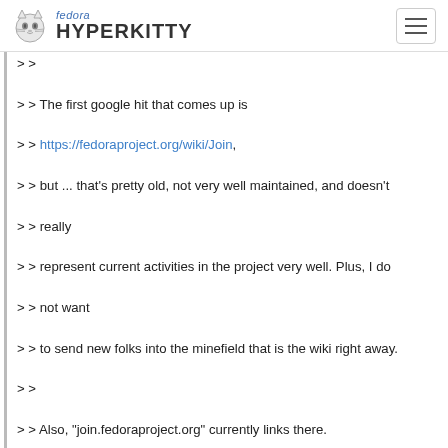fedora HYPERKITTY
> >
> > The first google hit that comes up is
> > https://fedoraproject.org/wiki/Join,
> > but ... that's pretty old, not very well maintained, and doesn't
> > really
> > represent current activities in the project very well. Plus, I do
> > not want
> > to send new folks into the minefield that is the wiki right away.
> >
> > Also, "join.fedoraproject.org" currently links there.
> >
> >
> > Then, there's this:
> > https://docs.fedoraproject.org/en-US/fedora-join/
> >
> > which I _think_ is helpful, but I find somewhat confusing because
> it mixes
> > up the business of the Join SIG (that is, all the helpful people
> > working to